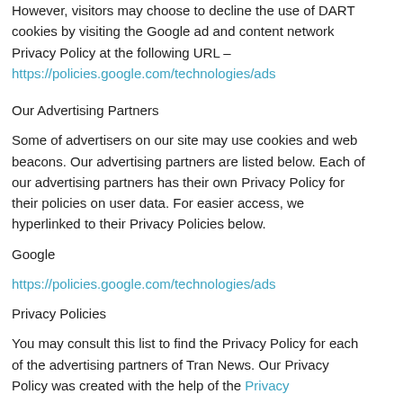However, visitors may choose to decline the use of DART cookies by visiting the Google ad and content network Privacy Policy at the following URL – https://policies.google.com/technologies/ads
Our Advertising Partners
Some of advertisers on our site may use cookies and web beacons. Our advertising partners are listed below. Each of our advertising partners has their own Privacy Policy for their policies on user data. For easier access, we hyperlinked to their Privacy Policies below.
Google
https://policies.google.com/technologies/ads
Privacy Policies
You may consult this list to find the Privacy Policy for each of the advertising partners of Tran News. Our Privacy Policy was created with the help of the Privacy